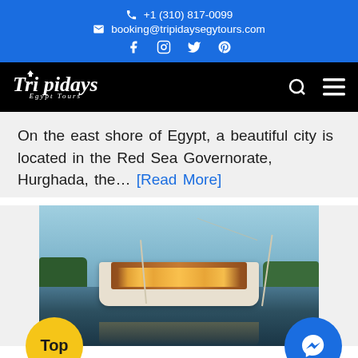+1 (310) 817-0099  |  booking@tripidaysegytours.com
[Figure (logo): Tripidays Egypt Tours logo on black navigation bar with search and menu icons]
On the east shore of Egypt, a beautiful city is located in the Red Sea Governorate, Hurghada, the… [Read More]
[Figure (photo): A traditional Egyptian felucca/dahabiya sailing boat on the Nile river at dusk with warm golden lighting]